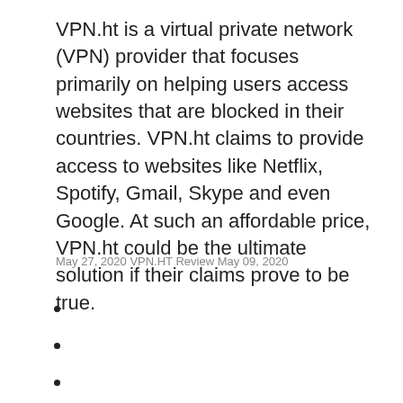VPN.ht is a virtual private network (VPN) provider that focuses primarily on helping users access websites that are blocked in their countries. VPN.ht claims to provide access to websites like Netflix, Spotify, Gmail, Skype and even Google. At such an affordable price, VPN.ht could be the ultimate solution if their claims prove to be true.
May 27, 2020 VPN.HT Review May 09, 2020